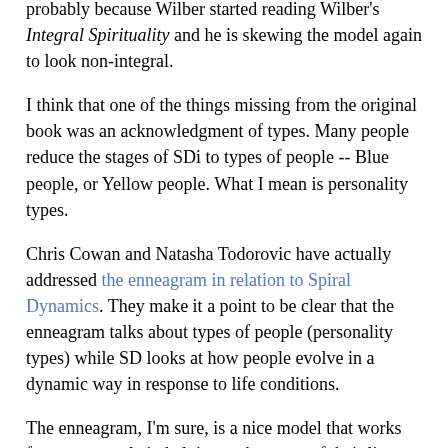probably because Wilber started reading Wilber's Integral Spirituality and he is skewing the model again to look non-integral.
I think that one of the things missing from the original book was an acknowledgment of types. Many people reduce the stages of SDi to types of people -- Blue people, or Yellow people. What I mean is personality types.
Chris Cowan and Natasha Todorovic have actually addressed the enneagram in relation to Spiral Dynamics. They make it a point to be clear that the enneagram talks about types of people (personality types) while SD looks at how people evolve in a dynamic way in response to life conditions.
The enneagram, I'm sure, is a nice model that works for some people in helping make sense of their lives. However, SD has built into it a system of types that is represented in the color coding. This is how Cowan presents it:
Among the problems caused by each level, we find the individual/collectivity dialectic. One